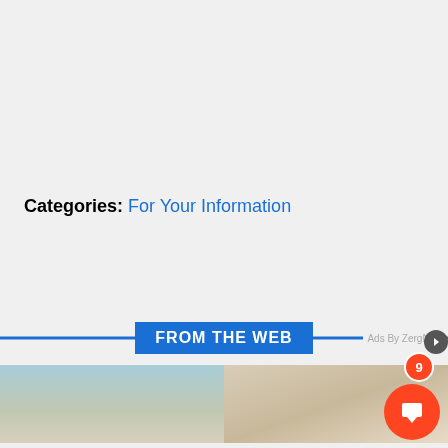Categories: For Your Information
[Figure (infographic): FROM THE WEB banner with blue horizontal line and 'Ads By ZergNet' label on right]
[Figure (photo): Two thumbnail images side by side showing people, part of a web content recommendation widget]